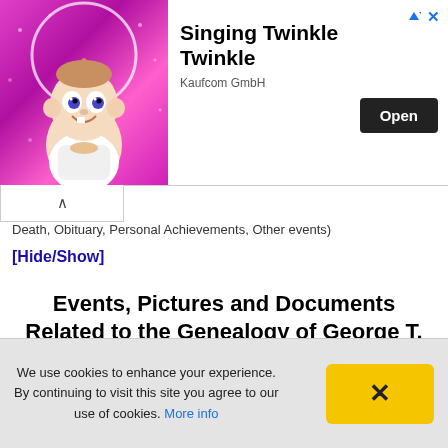[Figure (illustration): Advertisement banner featuring an animated baby character on a pink sparkly background with text 'Singing Twinkle Twinkle' by Kaufcom GmbH and an Open button]
Death, Obituary, Personal Achievements, Other events)
[Hide/Show]
Events, Pictures and Documents Related to the Genealogy of George T. BARRETT
[Figure (photo): Partial thumbnail image showing trees or foliage]
We use cookies to enhance your experience. By continuing to visit this site you agree to our use of cookies. More info